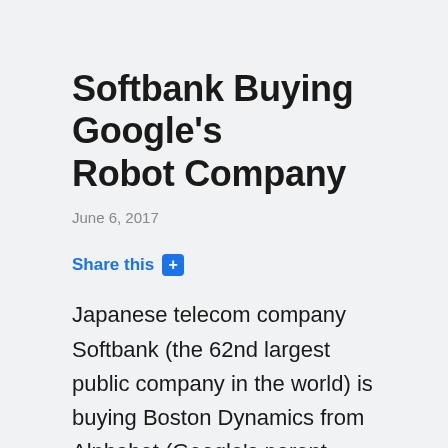Softbank Buying Google's Robot Company
June 6, 2017
Share this +
Japanese telecom company Softbank (the 62nd largest public company in the world) is buying Boston Dynamics from Alphabet (Google's parent company). Softbank also got Japanese bipedal robotics company Schaft as part of the deal.